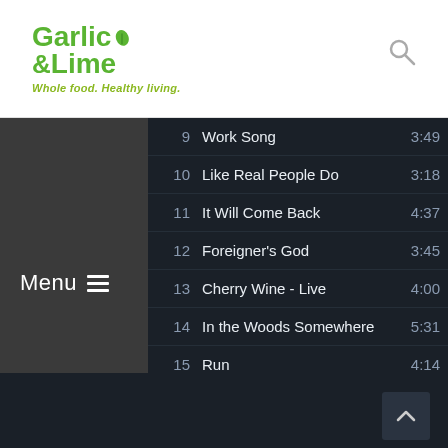[Figure (logo): Garlic & Lime logo with leaf icon and tagline 'Whole food. Healthy living.']
9  Work Song  3:49
10  Like Real People Do  3:18
11  It Will Come Back  4:37
12  Foreigner's God  3:45
13  Cherry Wine - Live  4:00
14  In the Woods Somewhere  5:31
15  Run  4:14
16  Arsonist's Lullabye  4:26
17  My Love Will Never Die  3:55